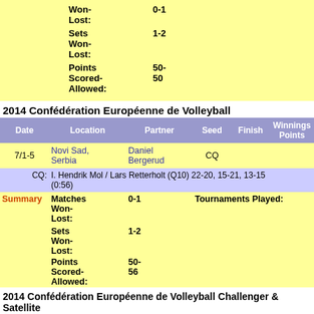|  | Won-Lost: | 0-1 |  |
|  | Sets Won-Lost: | 1-2 |  |
|  | Points Scored-Allowed: | 50-50 |  |
2014 Confédération Européenne de Volleyball
| Date | Location | Partner | Seed | Finish | Winnings | Points |
| --- | --- | --- | --- | --- | --- | --- |
| 7/1-5 | Novi Sad, Serbia | Daniel Bergerud | CQ |  |  |  |
| CQ: | I. Hendrik Mol / Lars Retterholt (Q10) 22-20, 15-21, 13-15 (0:56) |  |  |  |  |  |
| Summary | Matches Won-Lost: | 0-1 | Tournaments Played: |
|  | Sets Won-Lost: | 1-2 |  |
|  | Points Scored-Allowed: | 50-56 |  |
2014 Confédération Européenne de Volleyball Challenger & Satellite
| Date | Location | Partner | Seed | Finish | Winnings | Points |
| --- | --- | --- | --- | --- | --- | --- |
|  |  | Daniel |  |  |  |  |